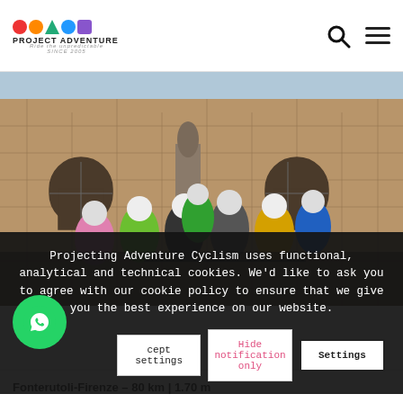[Figure (logo): Project Adventure Cycling logo with colorful icons and tagline 'Ride the unpredictable SINCE 2005']
[Figure (photo): Group of cyclists in helmets posing in front of a large stone building with arched windows and a statue, likely in Florence, Italy]
Projecting Adventure Cyclism uses functional, analytical and technical cookies. We'd like to ask you to agree with our cookie policy to ensure that we give you the best experience on our website.
Accept settings
Hide notification only
Settings
Fonterutoli-Firenze – 80 km | 1.70 m